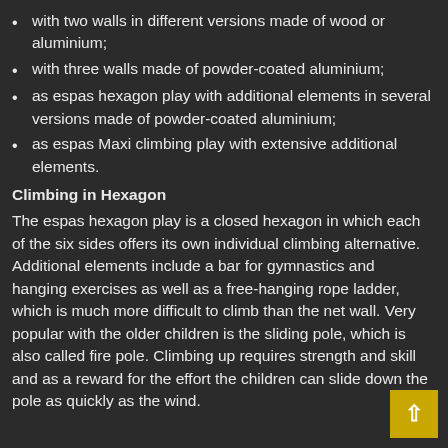with two walls in different versions made of wood or aluminium;
with three walls made of powder-coated aluminium;
as espas hexagon play with additional elements in several versions made of powder-coated aluminium;
as espas Maxi climbing play with extensive additional elements.
Climbing in Hexagon
The espas hexagon play is a closed hexagon in which each of the six sides offers its own individual climbing alternative. Additional elements include a bar for gymnastics and hanging exercises as well as a free-hanging rope ladder, which is much more difficult to climb than the net wall. Very popular with the older children is the sliding pole, which is also called fire pole. Climbing up requires strength and skill and as a reward for the effort the children can slide down the pole as quickly as the wind.